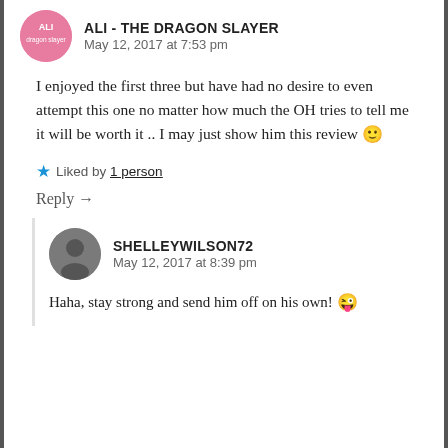ALI - THE DRAGON SLAYER
May 12, 2017 at 7:53 pm
I enjoyed the first three but have had no desire to even attempt this one no matter how much the OH tries to tell me it will be worth it .. I may just show him this review 🙂
★ Liked by 1 person
Reply →
SHELLEYWILSON72
May 12, 2017 at 8:39 pm
Haha, stay strong and send him off on his own! 😜